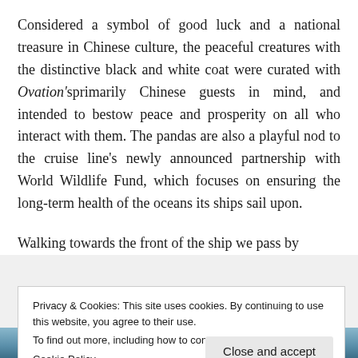Considered a symbol of good luck and a national treasure in Chinese culture, the peaceful creatures with the distinctive black and white coat were curated with Ovation'sprimarily Chinese guests in mind, and intended to bestow peace and prosperity on all who interact with them. The pandas are also a playful nod to the cruise line's newly announced partnership with World Wildlife Fund, which focuses on ensuring the long-term health of the oceans its ships sail upon.
Walking towards the front of the ship we pass by
Privacy & Cookies: This site uses cookies. By continuing to use this website, you agree to their use.
To find out more, including how to control cookies, see here:
Cookie Policy
[Figure (photo): Blue ocean/water scene visible at bottom of page]